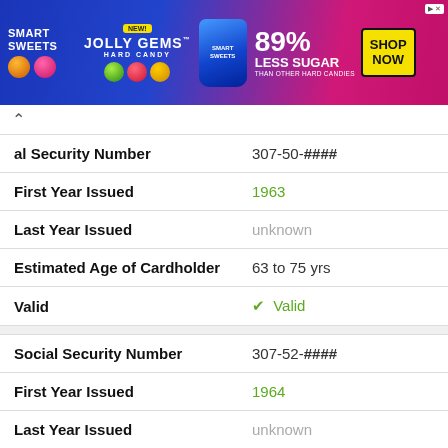[Figure (other): SmartSweets Jolly Gems Hard Candy advertisement banner: 89% Less Sugar than other hard candies, Shop Now button]
| Field | Value |
| --- | --- |
| al Security Number | 307-50-#### |
| First Year Issued | 1963 |
| Last Year Issued | unknown |
| Estimated Age of Cardholder | 63 to 75 yrs |
| Valid | ✓ Valid |
| Social Security Number | 307-52-#### |
| First Year Issued | 1964 |
| Last Year Issued | unknown |
| Estimated Age of Cardholder | 62 to 74 yrs |
| Valid | ✓ Valid |